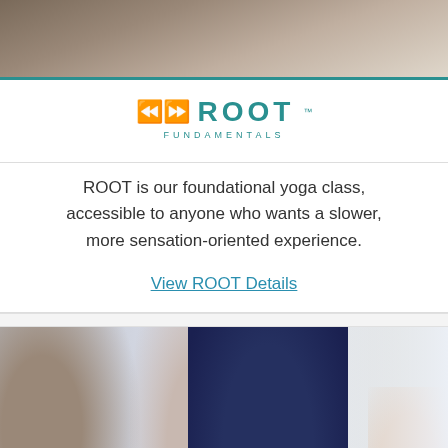[Figure (photo): Top portion of a photo showing a person in white top, likely in a yoga or meditation pose, with teal border line at bottom]
[Figure (logo): Root Fundamentals logo with teal decorative symbol and bold teal text 'ROOT' with 'FUNDAMENTALS' subtitle]
ROOT is our foundational yoga class, accessible to anyone who wants a slower, more sensation-oriented experience.
View ROOT Details
[Figure (photo): Photo of a yoga class with multiple people in various stretching and reaching poses, bright studio setting]